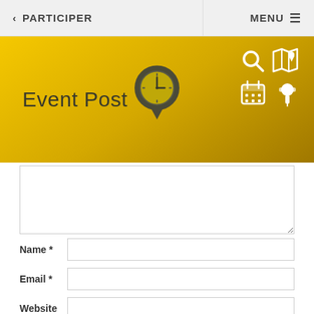< PARTICIPER   MENU ≡
[Figure (screenshot): Yellow/gold gradient banner with 'Event Post' title, a map pin with clock icon in the center, and four white icons (search, map, calendar, pin) in the top right corner]
[textarea - comment/message input area]
Name *
Email *
Website